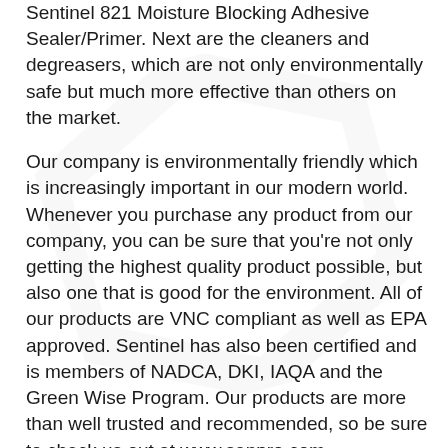Sentinel 821 Moisture Blocking Adhesive Sealer/Primer. Next are the cleaners and degreasers, which are not only environmentally safe but much more effective than others on the market.
Our company is environmentally friendly which is increasingly important in our modern world. Whenever you purchase any product from our company, you can be sure that you're not only getting the highest quality product possible, but also one that is good for the environment. All of our products are VNC compliant as well as EPA approved. Sentinel has also been certified and is members of NADCA, DKI, IAQA and the Green Wise Program. Our products are more than well trusted and recommended, so be sure to check us out at www.senpro.com
Tags: Adhesive Primers, Cleaners & Degreasers, Environmental Abatement, Odor Control